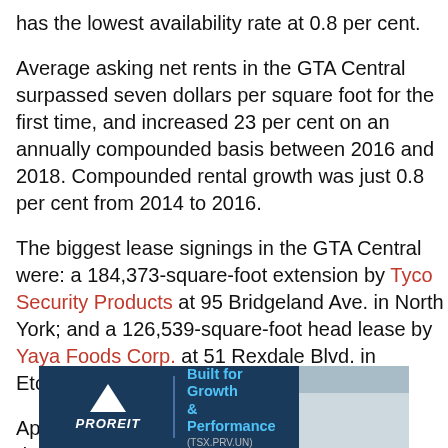has the lowest availability rate at 0.8 per cent.
Average asking net rents in the GTA Central surpassed seven dollars per square foot for the first time, and increased 23 per cent on an annually compounded basis between 2016 and 2018. Compounded rental growth was just 0.8 per cent from 2014 to 2016.
The biggest lease signings in the GTA Central were: a 184,373-square-foot extension by Tyco Security Products at 95 Bridgeland Ave. in North York; and a 126,539-square-foot head lease by Yaya Foods Corp. at 51 Rexdale Blvd. in Etobicoke.
Approximately 1.9 million square feet of new development is scheduled for completion in 2019, which
[Figure (infographic): PROREIT advertisement banner. Dark navy background. Left side has PROREIT logo with white triangle and italic text. Center has blue text 'Built for Growth & Performance' with grey subtext '(TSX.PRV.UN)'. Right side shows a warehouse/industrial building photo.]